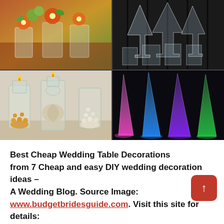[Figure (photo): 2x2 grid of wedding decoration photos: top-left shows flower centerpieces with orange gerbera daisies and green arrangements in glass vases; top-right shows elegant crystal/glass glassware and tall martini glasses on a dark backdrop; bottom-left shows clear glass cylinder vases with floating candles, shells, and pearl beads; bottom-right shows illuminated tall vases with colorful LED lights in pink, blue, purple, and green.]
Best Cheap Wedding Table Decorations from 7 Cheap and easy DIY wedding decoration ideas – A Wedding Blog. Source Image: www.budgetbridesguide.com. Visit this site for details: www.budgetbridesguide.com
For themed wedding decors you will certainly disc that some of them may have to be made by hand, others